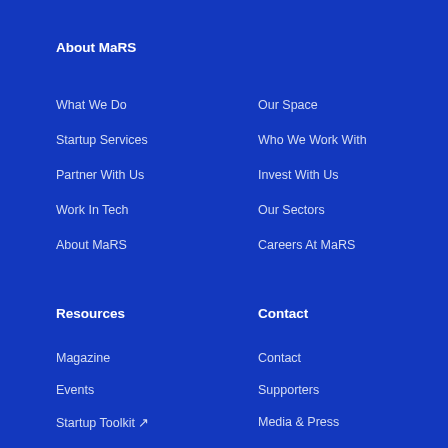About MaRS
What We Do
Startup Services
Partner With Us
Work In Tech
About MaRS
Our Space
Who We Work With
Invest With Us
Our Sectors
Careers At MaRS
Resources
Contact
Magazine
Events
Startup Toolkit ↗
Research & Insights
Our Results
Contact
Supporters
Media & Press
Legal